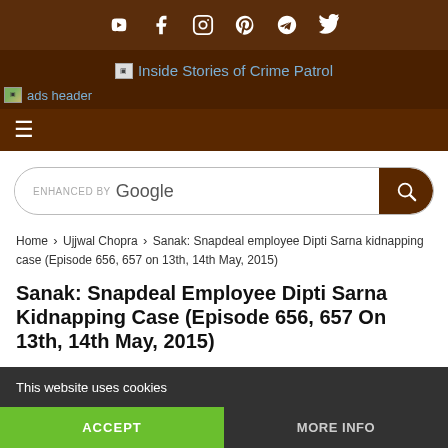Social icons bar: YouTube, Facebook, Instagram, Pinterest, Telegram, Twitter
[Figure (logo): Inside Stories of Crime Patrol logo/text link]
[Figure (illustration): ads header image placeholder]
Navigation hamburger menu
ENHANCED BY Google [search box]
Home › Ujjwal Chopra › Sanak: Snapdeal employee Dipti Sarna kidnapping case (Episode 656, 657 on 13th, 14th May, 2015)
Sanak: Snapdeal Employee Dipti Sarna Kidnapping Case (Episode 656, 657 On 13th, 14th May, 2015)
This website uses cookies
ACCEPT
MORE INFO